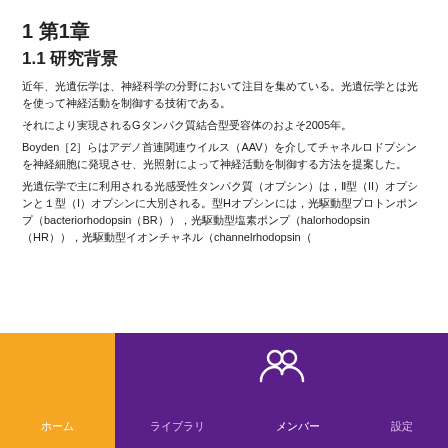1 第1章
1.1 研究背景
近年、光遗传学は、神経科学の分野において注目を集めている。光遗传学とは光を使って神経活動を制御する技術である。
それにより実現されるGタンパク質結合型受容体のおよそ2005年。
Boyden［2］らはアデノ首連関連ウイルス（AAV）を介してチャネルロドプシンを神経細胞に発現させ、光照射によって神経活動を制御する方法を提案した。
光遗传学で主に利用される光感受性タンパク質（オプシン）は，型（II）オプシンと＇1型（I）オプシンに大別される。型Ｈオプシンには，光駆動型プロトンポンプ（bacteriorhodopsin（BR）），光駆動型塩素ポンプ（halorhodopsin（HR）），光駆動型イオンチャネル（channelrhodopsin（
ホーム   ライブラリ   メンバー   設定